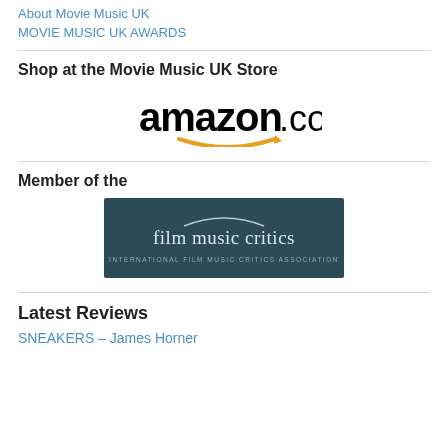About Movie Music UK
MOVIE MUSIC UK AWARDS
Shop at the Movie Music UK Store
[Figure (logo): Amazon.com logo with orange smile arrow]
Member of the
[Figure (logo): Film Music Critics - International Film Music Critics Association logo on dark teal background]
Latest Reviews
SNEAKERS – James Horner